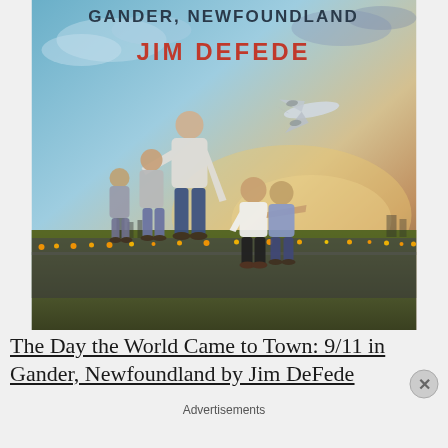[Figure (illustration): Book cover for 'The Day the World Came to Town: 9/11 in Gander, Newfoundland' by Jim DeFede. Shows a family silhouette from behind — an adult with arms around children — watching an airplane fly over an airport runway at dusk/sunset. Text at top reads 'GANDER, NEWFOUNDLAND' and 'JIM DEFEDE' in red.]
The Day the World Came to Town: 9/11 in Gander, Newfoundland by Jim DeFede
Advertisements